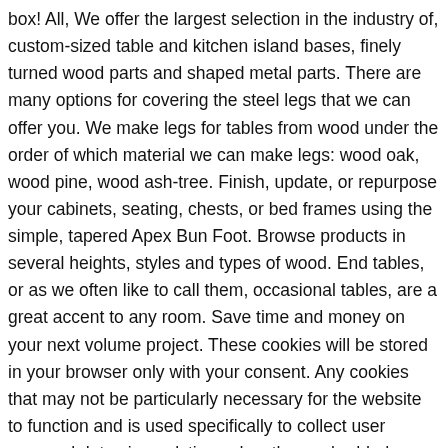box! All, We offer the largest selection in the industry of, custom-sized table and kitchen island bases, finely turned wood parts and shaped metal parts. There are many options for covering the steel legs that we can offer you. We make legs for tables from wood under the order of which material we can make legs: wood oak, wood pine, wood ash-tree. Finish, update, or repurpose your cabinets, seating, chests, or bed frames using the simple, tapered Apex Bun Foot. Browse products in several heights, styles and types of wood. End tables, or as we often like to call them, occasional tables, are a great accent to any room. Save time and money on your next volume project. These cookies will be stored in your browser only with your consent. Any cookies that may not be particularly necessary for the website to function and is used specifically to collect user personal data via analytics, ads, other embedded contents are termed as non-necessary cookies. - End Table Legs aren't just for End Tables. Browse our selection of table pedestals today!